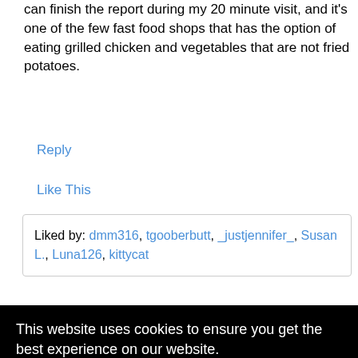can finish the report during my 20 minute visit, and it's one of the few fast food shops that has the option of eating grilled chicken and vegetables that are not fried potatoes.
Reply
Like This
Liked by: dmm316, tgooberbutt, _justjennifer_, Susan L., Luna126, kittycat
[Figure (screenshot): Cookie consent banner with black background. Text reads: 'This website uses cookies to ensure you get the best experience on our website.' with a 'Learn more' link and a yellow 'Got it!' button.]